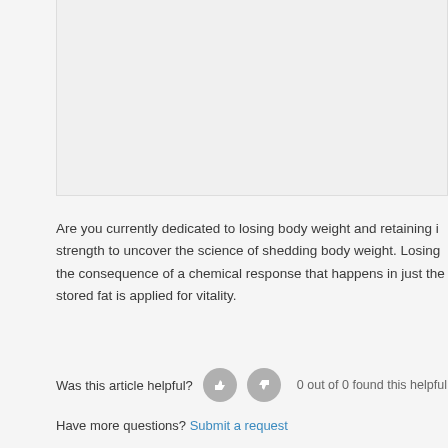[Figure (other): Empty light gray image placeholder box]
Are you currently dedicated to losing body weight and retaining i... strength to uncover the science of shedding body weight. Losing... the consequence of a chemical response that happens in just the... stored fat is applied for vitality.
Was this article helpful? 0 out of 0 found this helpful
Have more questions? Submit a request